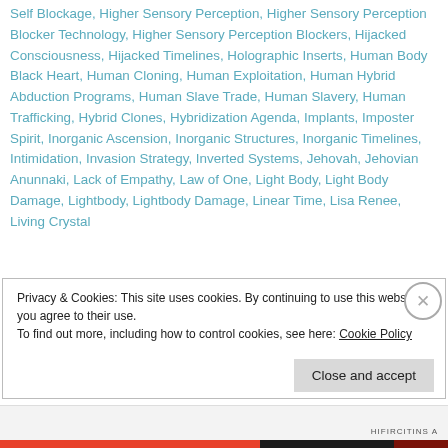Self Blockage, Higher Sensory Perception, Higher Sensory Perception Blocker Technology, Higher Sensory Perception Blockers, Hijacked Consciousness, Hijacked Timelines, Holographic Inserts, Human Body Black Heart, Human Cloning, Human Exploitation, Human Hybrid Abduction Programs, Human Slave Trade, Human Slavery, Human Trafficking, Hybrid Clones, Hybridization Agenda, Implants, Imposter Spirit, Inorganic Ascension, Inorganic Structures, Inorganic Timelines, Intimidation, Invasion Strategy, Inverted Systems, Jehovah, Jehovian Anunnaki, Lack of Empathy, Law of One, Light Body, Light Body Damage, Lightbody, Lightbody Damage, Linear Time, Lisa Renee, Living Crystal
Privacy & Cookies: This site uses cookies. By continuing to use this website, you agree to their use.
To find out more, including how to control cookies, see here: Cookie Policy
Close and accept
HIFIRCITINS A